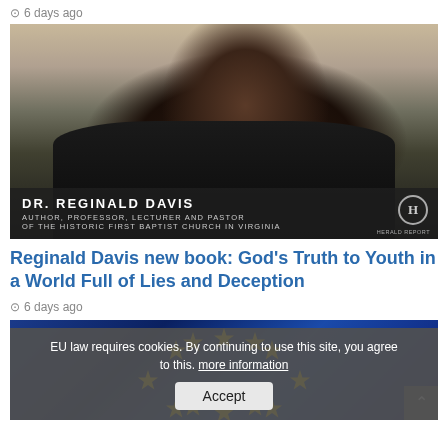6 days ago
[Figure (photo): Dr. Reginald Davis, an African American man in a dark suit with a tie, smiling. Lower-third caption bar reads: DR. REGINALD DAVIS / AUTHOR, PROFESSOR, LECTURER AND PASTOR / OF THE HISTORIC FIRST BAPTIST CHURCH IN VIRGINIA. Herald Report logo at bottom right.]
Reginald Davis new book: God's Truth to Youth in a World Full of Lies and Deception
6 days ago
[Figure (photo): European Union flag with yellow stars on blue background. A cookie consent banner overlays the bottom: EU law requires cookies. By continuing to use this site, you agree to this. more information | Accept button.]